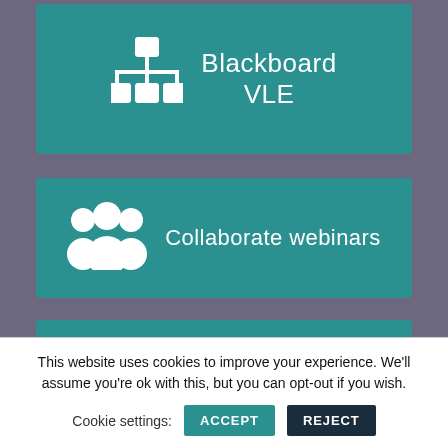[Figure (infographic): Teal card with network/hierarchy icon and text 'Blackboard VLE']
[Figure (infographic): Teal card with group/people icon and text 'Collaborate webinars']
[Figure (infographic): Teal card with bar chart/poll icon and text 'Mentimeter polling']
[Figure (infographic): Teal card with code brackets icon and text 'Xerte interactive materials' (partially visible)]
This website uses cookies to improve your experience. We'll assume you're ok with this, but you can opt-out if you wish.
Cookie settings: ACCEPT REJECT